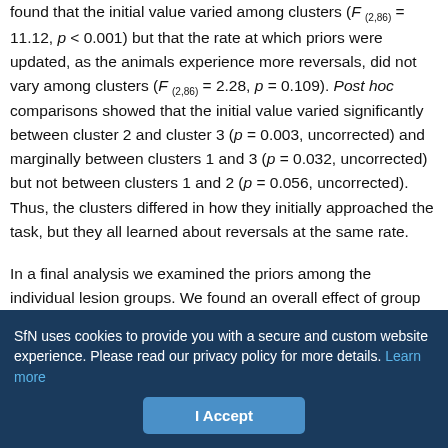found that the initial value varied among clusters (F(2,86) = 11.12, p < 0.001) but that the rate at which priors were updated, as the animals experience more reversals, did not vary among clusters (F(2,86) = 2.28, p = 0.109). Post hoc comparisons showed that the initial value varied significantly between cluster 2 and cluster 3 (p = 0.003, uncorrected) and marginally between clusters 1 and 3 (p = 0.032, uncorrected) but not between clusters 1 and 2 (p = 0.056, uncorrected). Thus, the clusters differed in how they initially approached the task, but they all learned about reversals at the same rate.
In a final analysis we examined the priors among the individual lesion groups. We found an overall effect of group on the prior (F(12,76) = 2.9, p = 0.002). We followed this up with the 72 pairwise post
SfN uses cookies to provide you with a secure and custom website experience. Please read our privacy policy for more details. Learn more